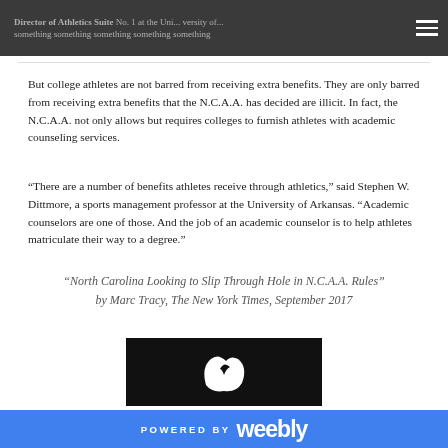Director of Athletics Suite No. 1 at the Un... iversity of ... something something something something
But college athletes are not barred from receiving extra benefits. They are only barred from receiving extra benefits that the N.C.A.A. has decided are illicit. In fact, the N.C.A.A. not only allows but requires colleges to furnish athletes with academic counseling services.
“There are a number of benefits athletes receive through athletics,” said Stephen W. Dittmore, a sports management professor at the University of Arkansas. “Academic counselors are one of those. And the job of an academic counselor is to help athletes matriculate their way to a degree.”
"North Carolina Looking to Slip Through Hole in N.C.A.A. Rules" by Marc Tracy, The New York Times, September 2017
[Figure (logo): Weebly logo mark - white shape on black background]
POWERED BY weebly